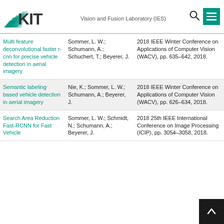KIT – Vision and Fusion Laboratory (IES)
| Title | Authors | Publication |
| --- | --- | --- |
| Multi feature deconvolutional faster r-cnn for precise vehicle detection in aerial imagery | Sommer, L. W.; Schumann, A.; Schuchert, T.; Beyerer, J. | 2018 IEEE Winter Conference on Applications of Computer Vision (WACV), pp. 635–642, 2018. |
| Semantic labeling based vehicle detection in aerial imagery | Nie, K.; Sommer, L. W.; Schumann, A.; Beyerer, J. | 2018 IEEE Winter Conference on Applications of Computer Vision (WACV), pp. 626–634, 2018. |
| Search Area Reduction Fast-RCNN for Fast Vehicle Detection in Aerial Imagery | Sommer, L. W.; Schmidt, N.; Schumann, A.; Beyerer, J. | 2018 25th IEEE International Conference on Image Processing (ICIP), pp. 3054–3058, 2018. |